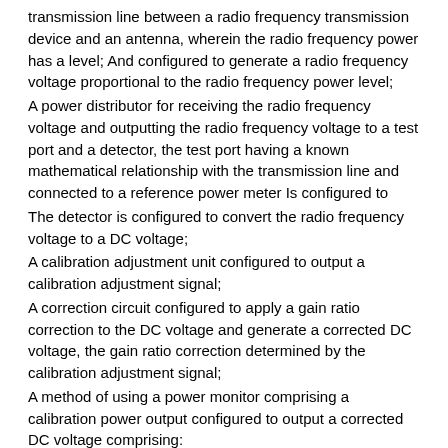transmission line between a radio frequency transmission device and an antenna, wherein the radio frequency power has a level; And configured to generate a radio frequency voltage proportional to the radio frequency power level;
A power distributor for receiving the radio frequency voltage and outputting the radio frequency voltage to a test port and a detector, the test port having a known mathematical relationship with the transmission line and connected to a reference power meter Is configured to
The detector is configured to convert the radio frequency voltage to a DC voltage;
A calibration adjustment unit configured to output a calibration adjustment signal;
A correction circuit configured to apply a gain ratio correction to the DC voltage and generate a corrected DC voltage, the gain ratio correction determined by the calibration adjustment signal;
A method of using a power monitor comprising a calibration power output configured to output a corrected DC voltage comprising:
The power monitor further comprises means for outputting the corrected DC voltage to a power display device indicating an indication,
Connecting the reference power meter to the test port;
Using the reference power meter to obtain a radio frequency power